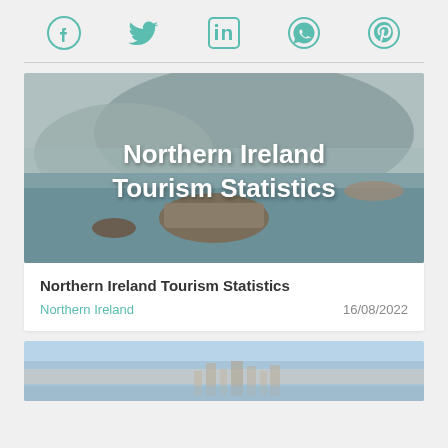Social share icons: Facebook, Twitter, LinkedIn, WhatsApp, Pinterest
[Figure (photo): Aerial coastal landscape photo with rocky outcrops and sea, with overlaid text 'Northern Ireland Tourism Statistics']
Northern Ireland Tourism Statistics
Northern Ireland   16/08/2022
[Figure (photo): City skyline photo with light haze, partial view at bottom of page]